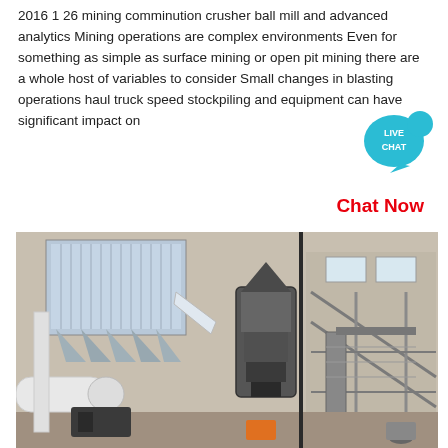2016 1 26 mining comminution crusher ball mill and advanced analytics Mining operations are complex environments Even for something as simple as surface mining or open pit mining there are a whole host of variables to consider Small changes in blasting operations haul truck speed stockpiling and equipment can have significant impact on
[Figure (other): Live Chat speech bubble icon in teal/blue color with white text reading LIVE CHAT]
Chat Now
[Figure (photo): Industrial mining facility interior showing large machinery including a vertical mill, dust collection hoppers, ductwork, conveyor systems, and steel structural framework inside a concrete building]